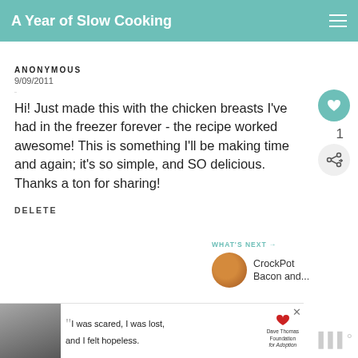A Year of Slow Cooking
ANONYMOUS
9/09/2011
Hi! Just made this with the chicken breasts I've had in the freezer forever - the recipe worked awesome! This is something I'll be making time and again; it's so simple, and SO delicious. Thanks a ton for sharing!
DELETE
WHAT'S NEXT → CrockPot Bacon and...
[Figure (screenshot): Advertisement banner: black and white photo of a woman with quote 'I was scared, I was lost, and I felt hopeless.' with Dave Thomas Foundation for Adoption logo and close button]